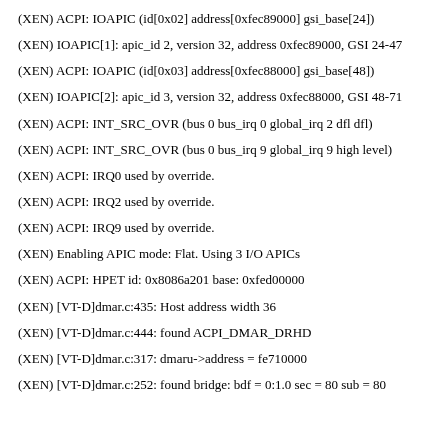(XEN) ACPI: IOAPIC (id[0x02] address[0xfec89000] gsi_base[24])
(XEN) IOAPIC[1]: apic_id 2, version 32, address 0xfec89000, GSI 24-47
(XEN) ACPI: IOAPIC (id[0x03] address[0xfec88000] gsi_base[48])
(XEN) IOAPIC[2]: apic_id 3, version 32, address 0xfec88000, GSI 48-71
(XEN) ACPI: INT_SRC_OVR (bus 0 bus_irq 0 global_irq 2 dfl dfl)
(XEN) ACPI: INT_SRC_OVR (bus 0 bus_irq 9 global_irq 9 high level)
(XEN) ACPI: IRQ0 used by override.
(XEN) ACPI: IRQ2 used by override.
(XEN) ACPI: IRQ9 used by override.
(XEN) Enabling APIC mode: Flat. Using 3 I/O APICs
(XEN) ACPI: HPET id: 0x8086a201 base: 0xfed00000
(XEN) [VT-D]dmar.c:435: Host address width 36
(XEN) [VT-D]dmar.c:444: found ACPI_DMAR_DRHD
(XEN) [VT-D]dmar.c:317: dmaru->address = fe710000
(XEN) [VT-D]dmar.c:252: found bridge: bdf = 0:1.0 sec = 80 sub = 80